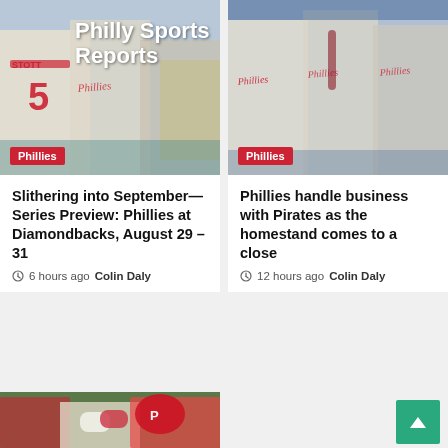Philly Sports Reports
[Figure (photo): Baseball players in Phillies uniforms, including player number 5 (Stott), on a baseball field]
Phillies
[Figure (photo): Phillies players celebrating on the baseball field]
Phillies
Slithering into September—Series Preview: Phillies at Diamondbacks, August 29 – 31
6 hours ago  Colin Daly
Phillies handle business with Pirates as the homestand comes to a close
12 hours ago  Colin Daly
[Figure (photo): Phillies players celebrating, fist bumping, with player wearing red helmet with P logo]